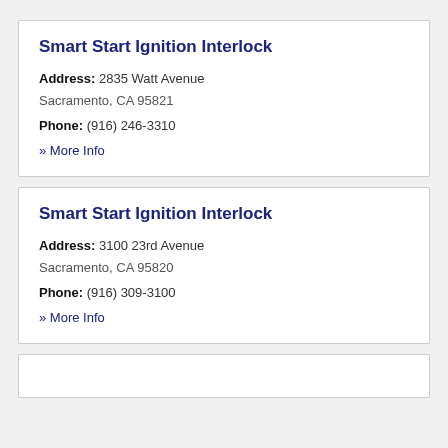Smart Start Ignition Interlock
Address: 2835 Watt Avenue
Sacramento, CA 95821
Phone: (916) 246-3310
» More Info
Smart Start Ignition Interlock
Address: 3100 23rd Avenue
Sacramento, CA 95820
Phone: (916) 309-3100
» More Info